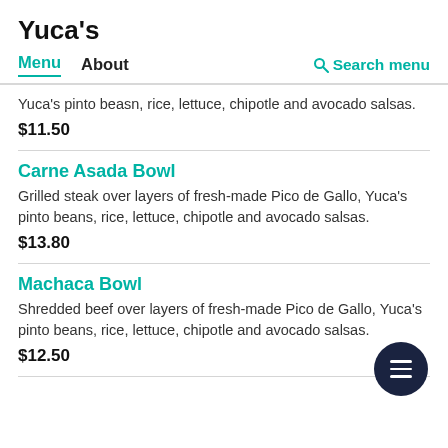Yuca's
Menu  About  Search menu
Yuca's pinto beasn, rice, lettuce, chipotle and avocado salsas.
$11.50
Carne Asada Bowl
Grilled steak over layers of fresh-made Pico de Gallo, Yuca's pinto beans, rice, lettuce, chipotle and avocado salsas.
$13.80
Machaca Bowl
Shredded beef over layers of fresh-made Pico de Gallo, Yuca's pinto beans, rice, lettuce, chipotle and avocado salsas.
$12.50